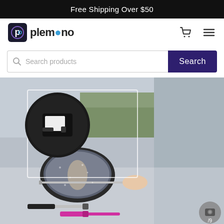Free Shipping Over $50
[Figure (logo): Plemono logo with stylized P icon]
Search products
Search
[Figure (photo): Car side mirror being cleaned with a telescoping wiper tool. Inset circle shows close-up of the cleaning head. Bottom shows two wiper tools (black and pink handle).]